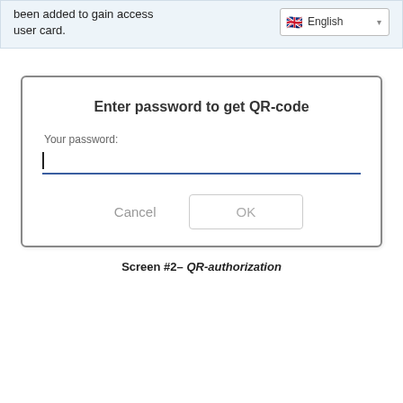been added to gain access user card.
[Figure (screenshot): A password dialog box with title 'Enter password to get QR-code', a password input field with cursor, and Cancel and OK buttons. A language selector showing English with UK flag is visible in the top-right of the surrounding page.]
Screen #2– QR-authorization